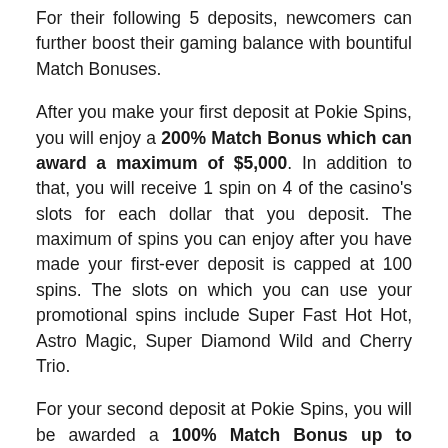For their following 5 deposits, newcomers can further boost their gaming balance with bountiful Match Bonuses.
After you make your first deposit at Pokie Spins, you will enjoy a 200% Match Bonus which can award a maximum of $5,000. In addition to that, you will receive 1 spin on 4 of the casino's slots for each dollar that you deposit. The maximum of spins you can enjoy after you have made your first-ever deposit is capped at 100 spins. The slots on which you can use your promotional spins include Super Fast Hot Hot, Astro Magic, Super Diamond Wild and Cherry Trio.
For your second deposit at Pokie Spins, you will be awarded a 100% Match Bonus up to $1,000 and 1 spin for every dollar you deposit. The spins that you will enjoy after your second deposit will be available on the slot Fruit Zen. To continue the fruitful experience, you can also claim a 75% Bonus on your third casino deposit. It will award up to